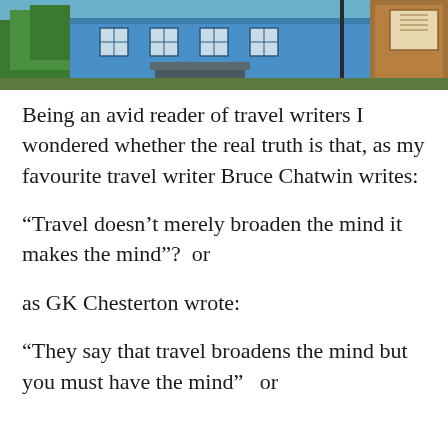[Figure (photo): A blue wooden building with windows and a wooden sign board, with trees in the background and a wooden fence or structure on the right.]
Being an avid reader of travel writers I wondered whether the real truth is that, as my favourite travel writer Bruce Chatwin writes:
“Travel doesn’t merely broaden the mind it makes the mind”?  or
as GK Chesterton wrote:
“They say that travel broadens the mind but you must have the mind”   or